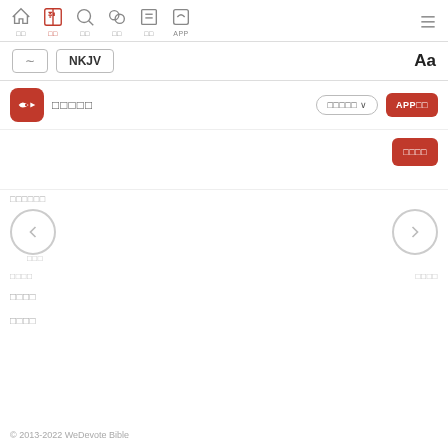Navigation bar with home, bible, search, compare, list, APP icons and hamburger menu
NKJV | Aa — version selector and font size button
App promo row with icon, name placeholder, dropdown and APP download button
Red action button
Section label placeholder
Left and right navigation arrows
Nav label placeholder (left)
Nav label placeholder (right)
Link placeholder 1
Link placeholder 2
© 2013-2022 WeDevote Bible